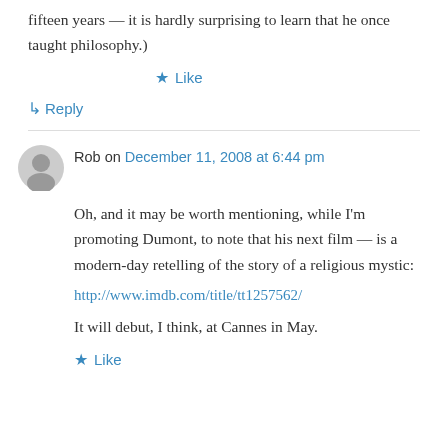fifteen years — it is hardly surprising to learn that he once taught philosophy.)
★ Like
↳ Reply
Rob on December 11, 2008 at 6:44 pm
Oh, and it may be worth mentioning, while I'm promoting Dumont, to note that his next film — is a modern-day retelling of the story of a religious mystic:
http://www.imdb.com/title/tt1257562/
It will debut, I think, at Cannes in May.
★ Like